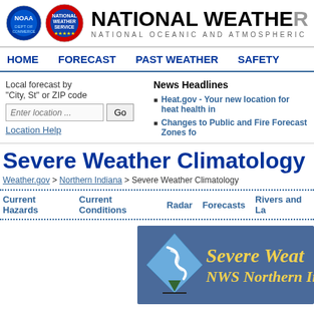NATIONAL WEATHER SERVICE — NATIONAL OCEANIC AND ATMOSPHERIC
HOME | FORECAST | PAST WEATHER | SAFETY
Local forecast by "City, St" or ZIP code
News Headlines
Heat.gov - Your new location for heat health in...
Changes to Public and Fire Forecast Zones fo...
Severe Weather Climatology
Weather.gov > Northern Indiana > Severe Weather Climatology
Current Hazards | Current Conditions | Radar | Forecasts | Rivers and La...
[Figure (illustration): Severe Weather Climatology banner for NWS Northern Indiana with tornado icon on blue background and yellow italic text]